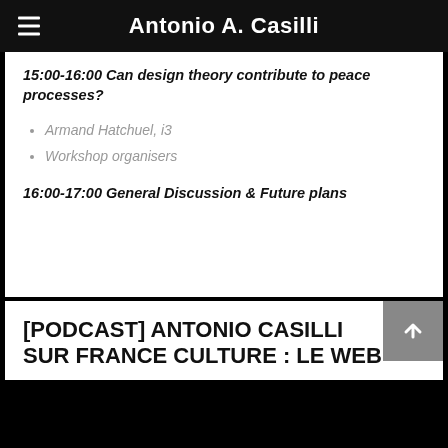Antonio A. Casilli
15:00-16:00 Can design theory contribute to peace processes?
Armand Hatchuel, i3
Workshop organisers
16:00-17:00 General Discussion & Future plans
[PODCAST] ANTONIO CASILLI SUR FRANCE CULTURE : LE WEB